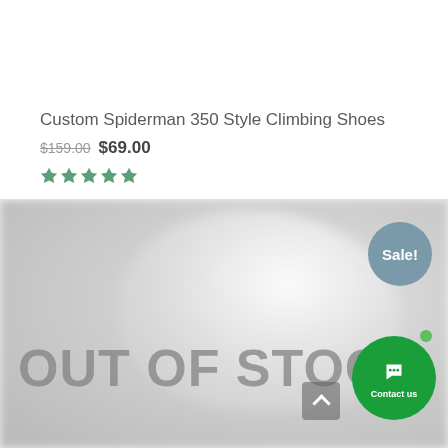Custom Spiderman 350 Style Climbing Shoes
$159.00 $69.00
[Figure (screenshot): Product listing screenshot showing a white shoe with OUT OF STOCK overlay, Sale badge, contact us button, and scroll-to-top button]